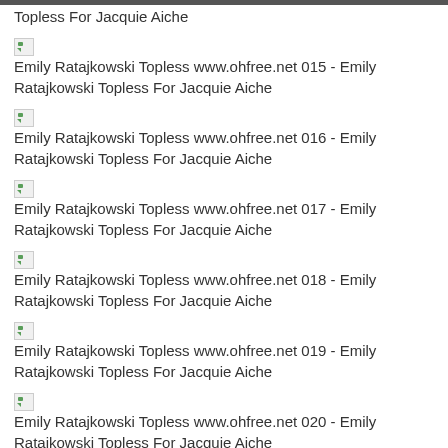Topless For Jacquie Aiche
Emily Ratajkowski Topless www.ohfree.net 015 - Emily Ratajkowski Topless For Jacquie Aiche
Emily Ratajkowski Topless www.ohfree.net 016 - Emily Ratajkowski Topless For Jacquie Aiche
Emily Ratajkowski Topless www.ohfree.net 017 - Emily Ratajkowski Topless For Jacquie Aiche
Emily Ratajkowski Topless www.ohfree.net 018 - Emily Ratajkowski Topless For Jacquie Aiche
Emily Ratajkowski Topless www.ohfree.net 019 - Emily Ratajkowski Topless For Jacquie Aiche
Emily Ratajkowski Topless www.ohfree.net 020 - Emily Ratajkowski Topless For Jacquie Aiche
Emily Ratajkowski Topless www.ohfree.net 021 - Emily Ratajkowski Topless For Jacquie Aiche